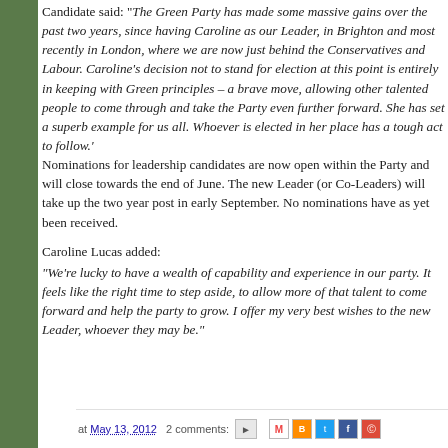Candidate said: "The Green Party has made some massive gains over the past two years, since having Caroline as our Leader, in Brighton and most recently in London, where we are now just behind the Conservatives and Labour. Caroline's decision not to stand for election at this point is entirely in keeping with Green principles – a brave move, allowing other talented people to come through and take the Party even further forward. She has set a superb example for us all. Whoever is elected in her place has a tough act to follow.' Nominations for leadership candidates are now open within the Party and will close towards the end of June. The new Leader (or Co-Leaders) will take up the two year post in early September. No nominations have as yet been received.
Caroline Lucas added: "We're lucky to have a wealth of capability and experience in our party. It feels like the right time to step aside, to allow more of that talent to come forward and help the party to grow. I offer my very best wishes to the new Leader, whoever they may be."
at May 13, 2012   2 comments: